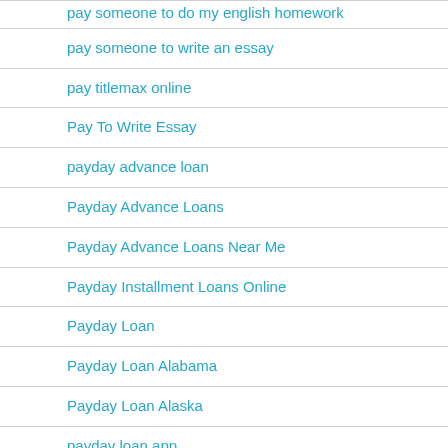pay someone to do my english homework
pay someone to write an essay
pay titlemax online
Pay To Write Essay
payday advance loan
Payday Advance Loans
Payday Advance Loans Near Me
Payday Installment Loans Online
Payday Loan
Payday Loan Alabama
Payday Loan Alaska
payday loan app
Payday Loan Application